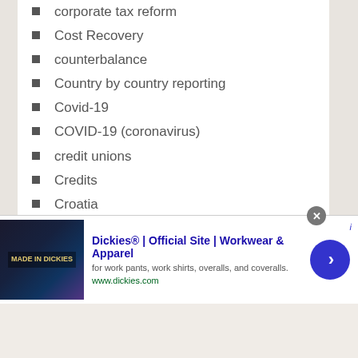corporate tax reform
Cost Recovery
counterbalance
Country by country reporting
Covid-19
COVID-19 (coronavirus)
credit unions
Credits
Croatia
cross
cryptocurrencies
cryptocurrency
CSED
[Figure (other): Advertisement banner for Dickies workwear showing logo image, title 'Dickies® | Official Site | Workwear & Apparel', description text 'for work pants, work shirts, overalls, and coveralls.', URL www.dickies.com, and a blue arrow button]